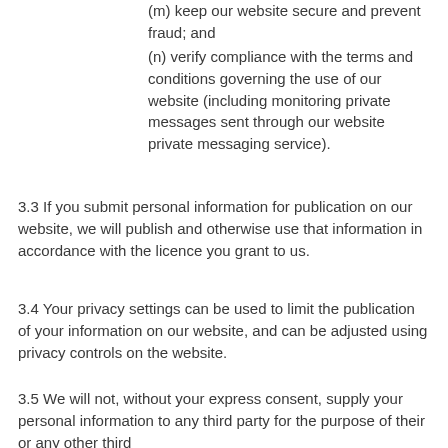(m) keep our website secure and prevent fraud; and
(n) verify compliance with the terms and conditions governing the use of our website (including monitoring private messages sent through our website private messaging service).
3.3 If you submit personal information for publication on our website, we will publish and otherwise use that information in accordance with the licence you grant to us.
3.4 Your privacy settings can be used to limit the publication of your information on our website, and can be adjusted using privacy controls on the website.
3.5 We will not, without your express consent, supply your personal information to any third party for the purpose of their or any other third